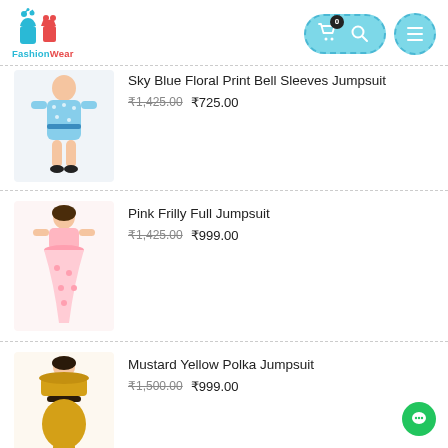[Figure (logo): FashionWear logo with stylized clothing icons in teal and red]
[Figure (screenshot): Navigation header with cart (badge 0), search, and hamburger menu buttons in teal dashed style]
[Figure (photo): Sky Blue Floral Print Bell Sleeves Jumpsuit product image (partially cropped at top)]
Sky Blue Floral Print Bell Sleeves Jumpsuit
₹1,425.00  ₹725.00
[Figure (photo): Pink Frilly Full Jumpsuit product image]
Pink Frilly Full Jumpsuit
₹1,425.00  ₹999.00
[Figure (photo): Mustard Yellow Polka Jumpsuit product image]
Mustard Yellow Polka Jumpsuit
₹1,500.00  ₹999.00